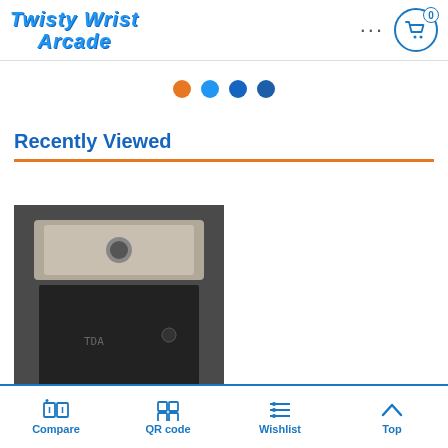Twisty Wrist Arcade
[Figure (other): Navigation dots indicator showing 4 dots: first orange, remaining three blue]
Recently Viewed
[Figure (photo): Photo of an integrated circuit (IC) chip with a metal heat spreader tab on top and multiple metal pins along the bottom]
Compare  QR code  Wishlist  Top